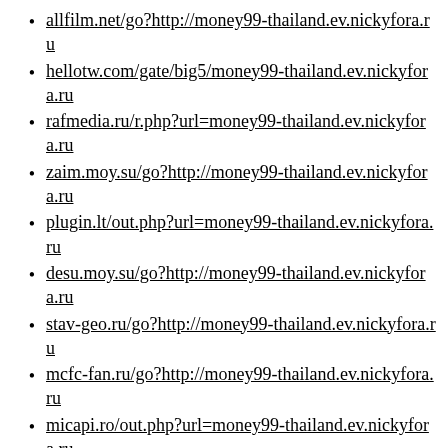allfilm.net/go?http://money99-thailand.ev.nickyfora.ru
hellotw.com/gate/big5/money99-thailand.ev.nickyfora.ru
rafmedia.ru/r.php?url=money99-thailand.ev.nickyfora.ru
zaim.moy.su/go?http://money99-thailand.ev.nickyfora.ru
plugin.lt/out.php?url=money99-thailand.ev.nickyfora.ru
desu.moy.su/go?http://money99-thailand.ev.nickyfora.ru
stav-geo.ru/go?http://money99-thailand.ev.nickyfora.ru
mcfc-fan.ru/go?http://money99-thailand.ev.nickyfora.ru
micapi.ro/out.php?url=money99-thailand.ev.nickyfora.ru
studioad.ru/go?http://money99-